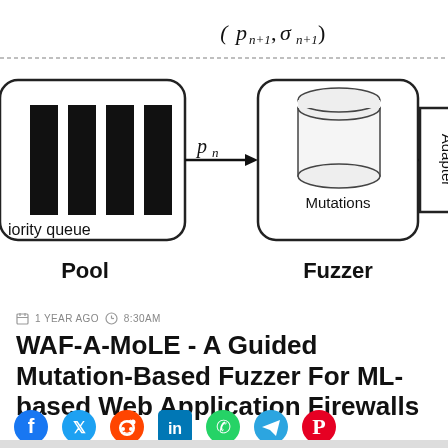[Figure (engineering-diagram): Block diagram showing a fuzzer pipeline: a priority queue pool on the left, feeding payload p_n to a Mutations block (Fuzzer), which outputs p_n+1 to an Adapter block on the right. Above is the label (p_{n+1}, sigma_{n+1}).]
1 YEAR AGO  8:30AM
WAF-A-MoLE - A Guided Mutation-Based Fuzzer For ML-based Web Application Firewalls
[Figure (other): Row of social media share icons: Facebook, Twitter, Reddit, LinkedIn, WhatsApp, Telegram, Pinterest]